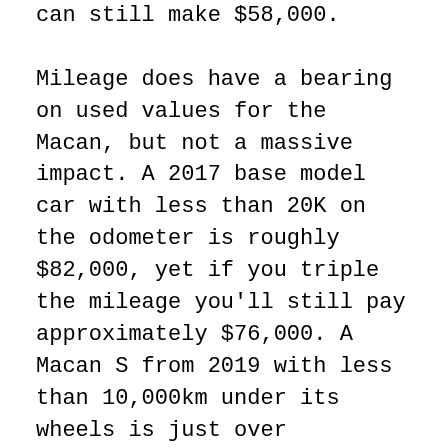can still make $58,000.

Mileage does have a bearing on used values for the Macan, but not a massive impact. A 2017 base model car with less than 20K on the odometer is roughly $82,000, yet if you triple the mileage you'll still pay approximately $76,000. A Macan S from 2019 with less than 10,000km under its wheels is just over $116,000, falling back only to $104,000 with five times the mileage: a 2017 Macan S costs $84,500 for a sub-20,000km example, and drops only $5K for an 80,000km+ machine. There are larger gaps with the Diesel S, though – a 2018 car with less than 40K on the odometer is in the region of $86,000 to just the other side of $90,000, but at 50,000km+ prices fall back to about $76,700.